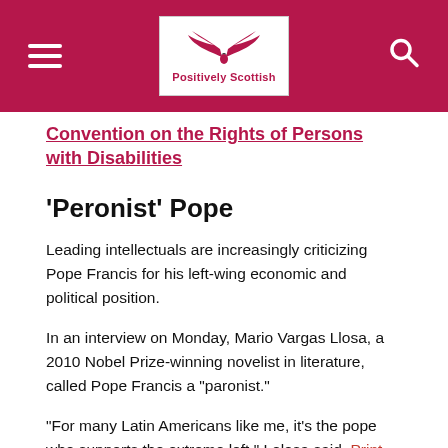Positively Scottish
Convention on the Rights of Persons with Disabilities
'Peronist' Pope
Leading intellectuals are increasingly criticizing Pope Francis for his left-wing economic and political position.
In an interview on Monday, Mario Vargas Llosa, a 2010 Nobel Prize-winning novelist in literature, called Pope Francis a “paronist.”
“For many Latin Americans like me, it’s the pope who supports the extreme left,” Lolosa said. Print.